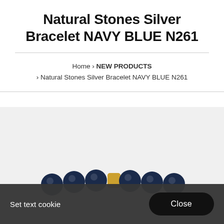Natural Stones Silver Bracelet NAVY BLUE N261
Home › NEW PRODUCTS › Natural Stones Silver Bracelet NAVY BLUE N261
[Figure (photo): Product photo of a navy blue natural stones silver bracelet with a gold accent bead, partially visible at the bottom of the image area against a light gray background.]
Set text cookie
Close